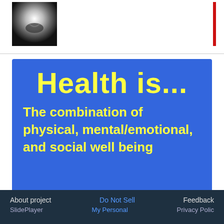[Figure (photo): Partial view of a slideshow thumbnail with a dark radial image and a red vertical bar on the right side]
[Figure (infographic): Blue slide with yellow bold text: 'Health is...' as the title, followed by body text 'The combination of physical, mental/emotional, and social well being']
About project   Do Not Sell   Feedback
SlidePlayer   My Personal   Privacy Policy